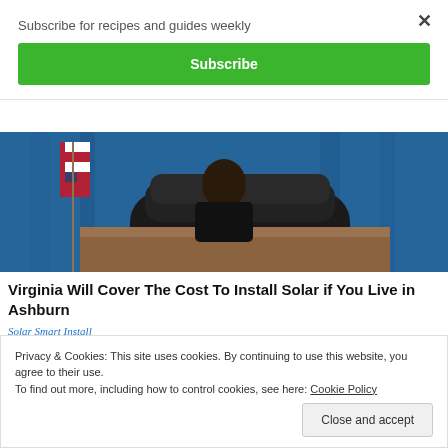Subscribe for recipes and guides weekly
×
Subscribe
[Figure (photo): Photo of a person at a podium/desk with an American flag and blue curtain in the background]
Virginia Will Cover The Cost To Install Solar if You Live in Ashburn
Solar Smart Install
Privacy & Cookies: This site uses cookies. By continuing to use this website, you agree to their use.
To find out more, including how to control cookies, see here: Cookie Policy
Close and accept